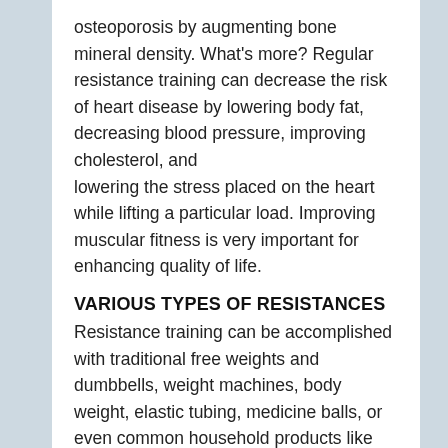osteoporosis by augmenting bone mineral density. What's more? Regular resistance training can decrease the risk of heart disease by lowering body fat, decreasing blood pressure, improving cholesterol, and lowering the stress placed on the heart while lifting a particular load. Improving muscular fitness is very important for enhancing quality of life.
VARIOUS TYPES OF RESISTANCES
Resistance training can be accomplished with traditional free weights and dumbbells, weight machines, body weight, elastic tubing, medicine balls, or even common household products like milk jugs filled with sand or soup cans. The choice